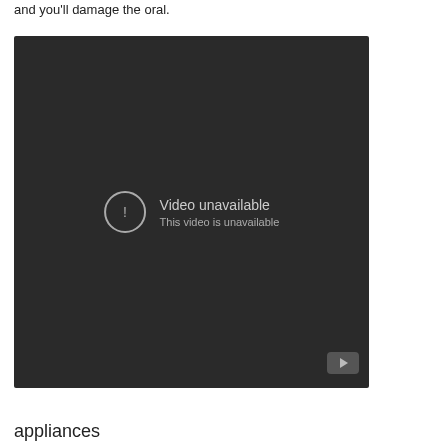and you'll damage the oral.
[Figure (screenshot): Embedded video player showing 'Video unavailable' error message. Dark background with a circle exclamation icon and text 'Video unavailable / This video is unavailable'. YouTube logo visible in bottom-right corner.]
appliances